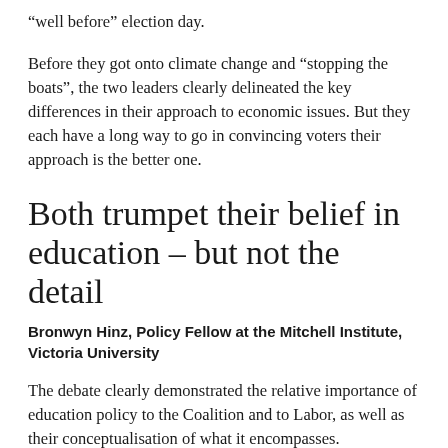“well before” election day.
Before they got onto climate change and “stopping the boats”, the two leaders clearly delineated the key differences in their approach to economic issues. But they each have a long way to go in convincing voters their approach is the better one.
Both trumpet their belief in education – but not the detail
Bronwyn Hinz, Policy Fellow at the Mitchell Institute, Victoria University
The debate clearly demonstrated the relative importance of education policy to the Coalition and to Labor, as well as their conceptualisation of what it encompasses.